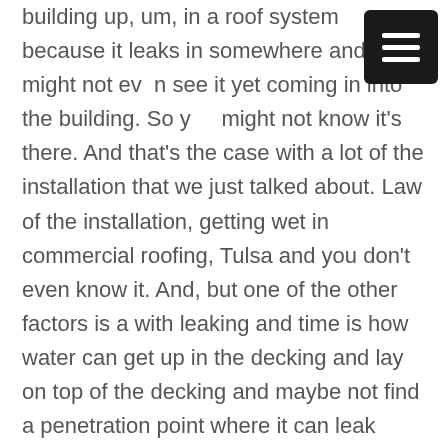building up, um, in a roof system because it leaks in somewhere and you might not even see it yet coming in into the building. So you might not know it's there. And that's the case with a lot of the installation that we just talked about. Law of the installation, getting wet in commercial roofing, Tulsa and you don't even know it. And, but one of the other factors is a with leaking and time is how water can get up in the decking and lay on top of the decking and maybe not find a penetration point where it can leak through to show that there's a leak in the roof, but it literally begin to rust out the decking and